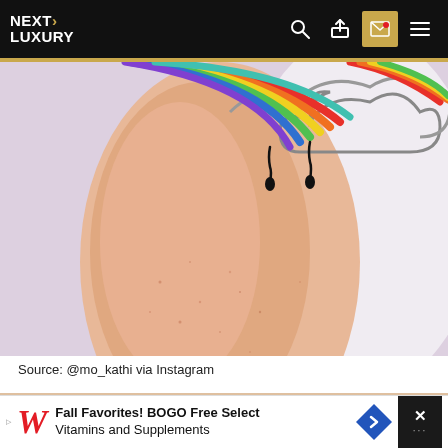NEXT LUXURY
[Figure (photo): Close-up photo of a person's forearm with a colorful rainbow and cloud tattoo with rain drops, on freckled skin against a light lavender/white background]
Source: @mo_kathi via Instagram
[Figure (photo): Partially visible second photo showing skin/body area with a gold button overlay]
Fall Favorites! BOGO Free Select Vitamins and Supplements